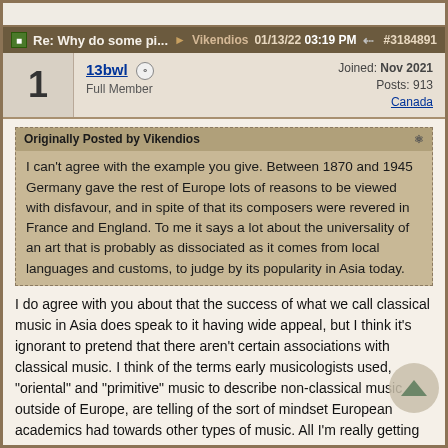Re: Why do some pi... Vikendios 01/13/22 03:19 PM #3184891
13bwl
Full Member
Joined: Nov 2021
Posts: 113
Canada
Originally Posted by Vikendios
I can't agree with the example you give. Between 1870 and 1945 Germany gave the rest of Europe lots of reasons to be viewed with disfavour, and in spite of that its composers were revered in France and England. To me it says a lot about the universality of an art that is probably as dissociated as it comes from local languages and customs, to judge by its popularity in Asia today.
I do agree with you about that the success of what we call classical music in Asia does speak to it having wide appeal, but I think it's ignorant to pretend that there aren't certain associations with classical music. I think of the terms early musicologists used, "oriental" and "primitive" music to describe non-classical music outside of Europe, are telling of the sort of mindset European academics had towards other types of music. All I'm really getting at is that although I am a classical musician and I love classical music, I also love hiphop, jazz...